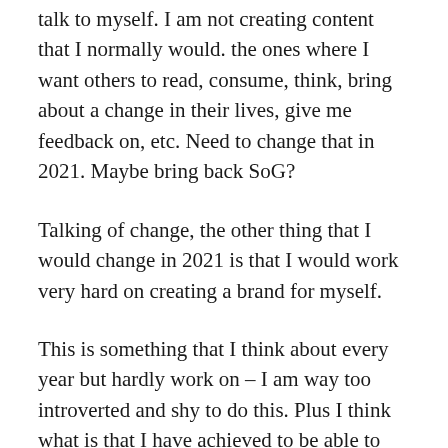talk to myself. I am not creating content that I normally would. the ones where I want others to read, consume, think, bring about a change in their lives, give me feedback on, etc. Need to change that in 2021. Maybe bring back SoG?
Talking of change, the other thing that I would change in 2021 is that I would work very hard on creating a brand for myself.
This is something that I think about every year but hardly work on – I am way too introverted and shy to do this. Plus I think what is that I have achieved to be able to tom-tom myself? Isn't the world already full of too many cluster-fucks, self-congratulatory messages,